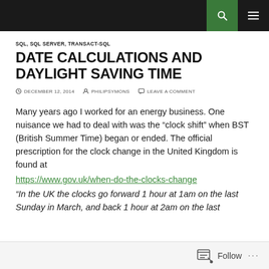Navigation bar with search and menu icons
SQL, SQL SERVER, TRANSACT-SQL
DATE CALCULATIONS AND DAYLIGHT SAVING TIME
DECEMBER 12, 2014  PHILIPSYMONS  LEAVE A COMMENT
Many years ago I worked for an energy business. One nuisance we had to deal with was the “clock shift” when BST (British Summer Time) began or ended. The official prescription for the clock change in the United Kingdom is found at
https://www.gov.uk/when-do-the-clocks-change
“In the UK the clocks go forward 1 hour at 1am on the last Sunday in March, and back 1 hour at 2am on the last
Follow ...